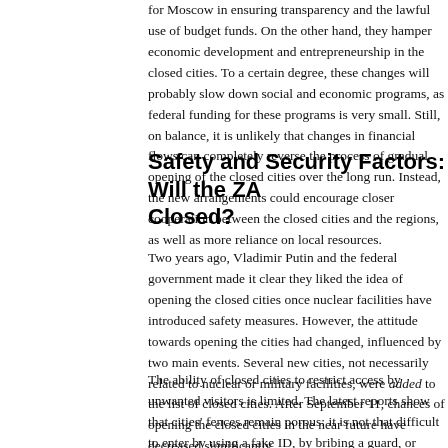for Moscow in ensuring transparency and the lawful use of budget funds. On the other hand, they hamper economic development and entrepreneurship in the closed cities. To a certain degree, these changes will probably slow down social and economic programs, as federal funding for these programs is very small. Still, on balance, it is unlikely that changes in financial flows can completely reverse the process of gradual opening of the closed cities over the long run. Instead, the new arrangements could encourage closer cooperation between the closed cities and the regions, as well as more reliance on local resources.
Safety and Security Factors: Will the ZATO Stay Closed?
Two years ago, Vladimir Putin and the federal government made it clear they liked the idea of opening the closed cities once nuclear facilities have introduced safety measures. However, the attitude towards opening the cities had changed, influenced by two main events. Several new cities, not necessarily related to nuclear or military facilities, were added to the list of closed cities. After September 11, chances of opening the closed cities in the near future have decreased significantly.
The ability of closed cities to restrict access by unwanted visitors is limited. The latest reports show that cities' fences remain porous: it is not that difficult to enter by using a fake ID, by bribing a guard, or simply by using a hole in the fence. In 2002, a group of Greenpeace activists, a State Duma deputy, and